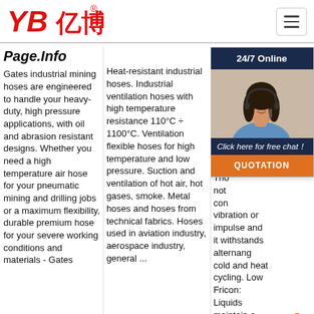[Figure (logo): YB亿博 company logo in red with registered trademark symbol]
Page.Info
Gates industrial mining hoses are engineered to handle your heavy-duty, high pressure applications, with oil and abrasion resistant designs. Whether you need a high temperature air hose for your pneumatic mining and drilling jobs or a maximum flexibility, durable premium hose for your severe working conditions and materials - Gates
Heat-resistant industrial hoses. Industrial ventilation hoses with high temperature resistance 110°C ÷ 1100°C. Ventilation flexible hoses for high temperature and low pressure. Suction and ventilation of hot air, hot gases, smoke. Metal hoses and hoses from technical fabrics. Hoses used in aviation industry, aerospace industry, general ...
23u2002·u2002Temperature Resistance ... range ... 500 ... hose ... at lo ... and ... tem ... and ... Re ... Those ... not ... con ... vibration or impulse and it withstands alternang cold and heat cycling. Low Fricon: Liquids maintain a steady flow without ...
[Figure (photo): Chat widget showing woman with headset, 24/7 Online label, Click here for free chat! button, and QUOTATION button]